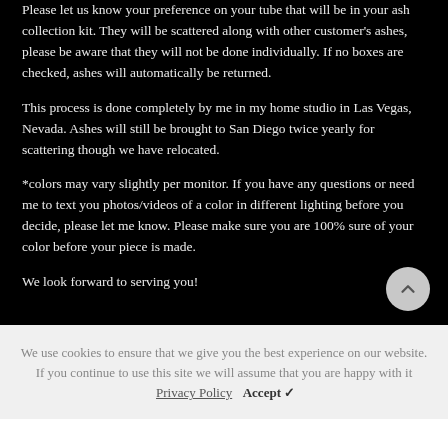Please let us know your preference on your tube that will be in your ash collection kit. They will be scattered along with other customer's ashes, please be aware that they will not be done individually. If no boxes are checked, ashes will automatically be returned.
This process is done completely by me in my home studio in Las Vegas, Nevada. Ashes will still be brought to San Diego twice yearly for scattering though we have relocated.
*colors may vary slightly per monitor. If you have any questions or need me to text you photos/videos of a color in different lighting before you decide, please let me know. Please make sure you are 100% sure of your color before your piece is made.
We look forward to serving you!
We use cookies to ensure that we give you the best experience on our website. If you continue to use this site we will assume that you are happy with it. Privacy Policy Accept